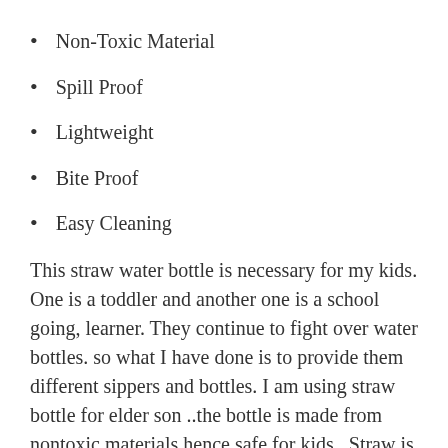Non-Toxic Material
Spill Proof
Lightweight
Bite Proof
Easy Cleaning
This straw water bottle is necessary for my kids. One is a toddler and another one is a school going, learner. They continue to fight over water bottles. so what I have done is to provide them different sippers and bottles. I am using straw bottle for elder son ..the bottle is made from nontoxic materials hence safe for kids . Straw is BPA free made which is easy to clean. Easy to carry to schools or while traveling. It's available in attractive colours..a ditachable strap comes alongwith it make it easy to carry.